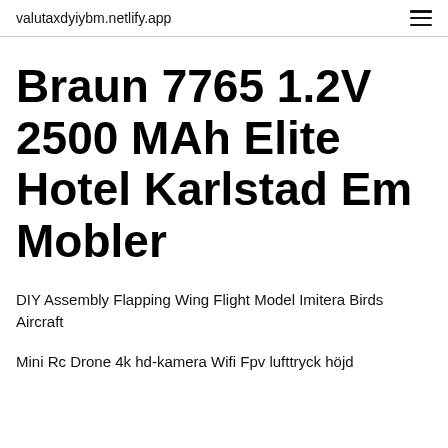valutaxdyiybm.netlify.app
Braun 7765 1.2V 2500 MAh Elite Hotel Karlstad Em Mobler
DIY Assembly Flapping Wing Flight Model Imitera Birds Aircraft
Mini Rc Drone 4k hd-kamera Wifi Fpv lufttryck höjd